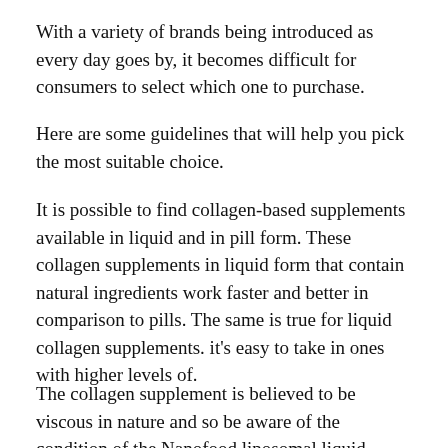With a variety of brands being introduced as every day goes by, it becomes difficult for consumers to select which one to purchase.
Here are some guidelines that will help you pick the most suitable choice.
It is possible to find collagen-based supplements available in liquid and in pill form. These collagen supplements in liquid form that contain natural ingredients work faster and better in comparison to pills. The same is true for liquid collagen supplements. it's easy to take in ones with higher levels of.
The collagen supplement is believed to be viscous in nature and so be aware of the condition of the Nanofood liposomal liquid supplements supplement